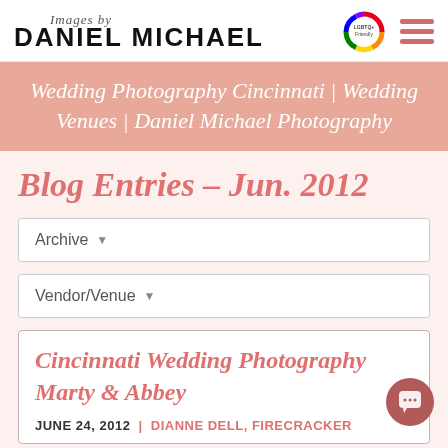Images by DANIEL MICHAEL
Wedding Photography Cincinnati | Wedding Venues | Daniel Michael Photography
Blog Entries - Jun. 2012
Archive
Vendor/Venue
Cincinnati Wedding Photography Marty & Abbey
JUNE 24, 2012 | DIANNE DELL, FIRECRACKER